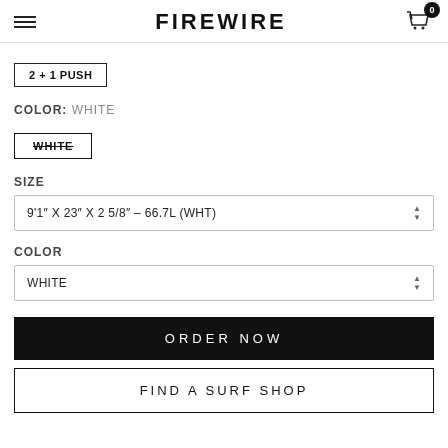FIREWIRE
2 + 1 PUSH
COLOR: WHITE
WHITE
SIZE
9'1" X 23" X 2 5/8" - 66.7L (WHT)
COLOR
WHITE
ORDER NOW
FIND A SURF SHOP